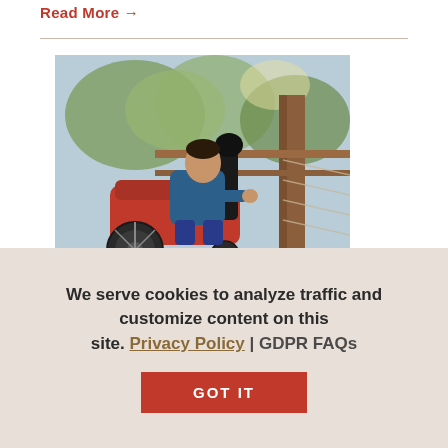Read More →
[Figure (photo): A child in a red wheelchair at an outdoor playground structure with wooden posts and wire fencing, trees visible in background.]
— Article
Experience Shepherd
We serve cookies to analyze traffic and customize content on this site. Privacy Policy | GDPR FAQs
GOT IT